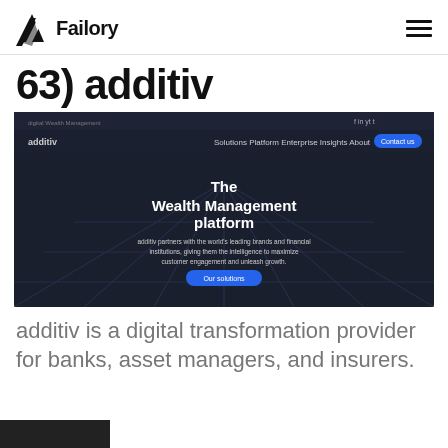Failory
63) additiv
[Figure (screenshot): Screenshot of the additiv website homepage showing 'The Wealth Management platform' headline on a dark background with navigation menu and 'Our solutions' button]
additiv is a digital transformation provider for banks, asset managers, and insurers.